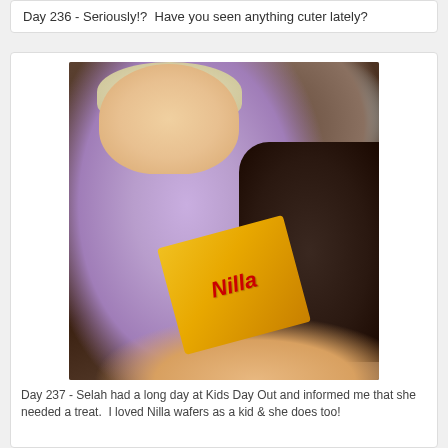Day 236 - Seriously!?  Have you seen anything cuter lately?
[Figure (photo): A toddler with blonde hair wearing a purple shirt, sitting on a dark brown sofa, eating from a yellow Nilla wafers box.]
Day 237 - Selah had a long day at Kids Day Out and informed me that she needed a treat.  I loved Nilla wafers as a kid & she does too!